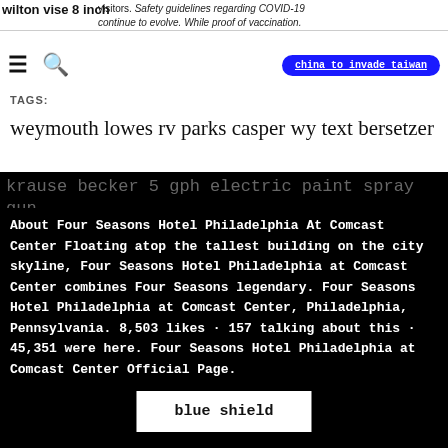visitors. Safety guidelines regarding COVID-19 continue to evolve. While proof of vaccination.
wilton vise 8 inch
[Figure (screenshot): Navigation bar with hamburger menu icon, search icon, and a blue pill-shaped button labeled 'china to invade taiwan']
TAGS:
weymouth lowes rv parks casper wy text bersetzer
krause becker 5 gph electric paint spray gun
About Four Seasons Hotel Philadelphia At Comcast Center Floating atop the tallest building on the city skyline, Four Seasons Hotel Philadelphia at Comcast Center combines Four Seasons legendary. Four Seasons Hotel Philadelphia at Comcast Center, Philadelphia, Pennsylvania. 8,503 likes · 157 talking about this · 45,351 were here. Four Seasons Hotel Philadelphia at Comcast Center Official Page.
blue shield